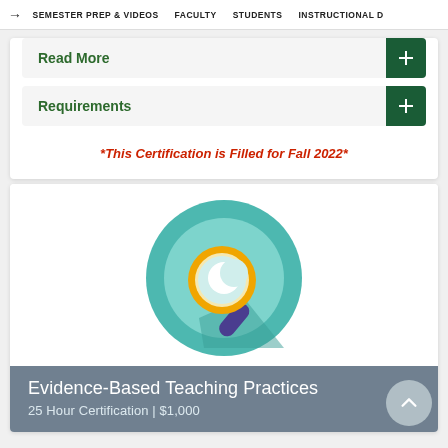→ SEMESTER PREP & VIDEOS   FACULTY   STUDENTS   INSTRUCTIONAL D
Read More
Requirements
*This Certification is Filled for Fall 2022*
[Figure (illustration): A magnifying glass icon with a crescent moon shape inside the lens, on a teal circle background, representing evidence-based research or investigation.]
Evidence-Based Teaching Practices
25 Hour Certification | $1,000